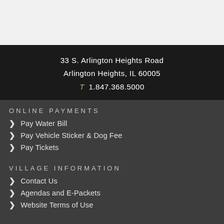33 S. Arlington Heights Road
Arlington Heights, IL 60005
T 1.847.368.5000
ONLINE PAYMENTS
Pay Water Bill
Pay Vehicle Sticker & Dog Fee
Pay Tickets
VILLAGE INFORMATION
Contact Us
Agendas and E-Packets
Website Terms of Use